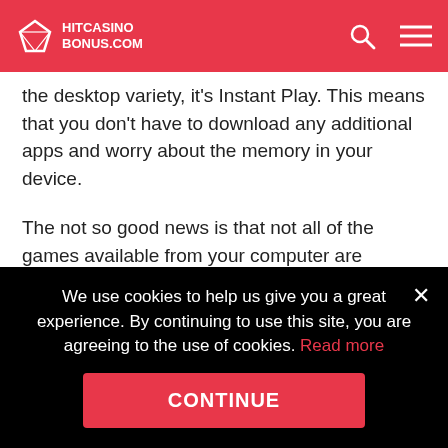HITCASINOBONUS.COM
the desktop variety, it's Instant Play. This means that you don't have to download any additional apps and worry about the memory in your device.
The not so good news is that not all of the games available from your computer are transferred to mobile. Though, this wouldn't be a problem for the majority of players as the most popular titles definitely are available there.
This issue is common for all mobile casinos of today.
We use cookies to help us give you a great experience. By continuing to use this site, you are agreeing to the use of cookies. Read more
CONTINUE